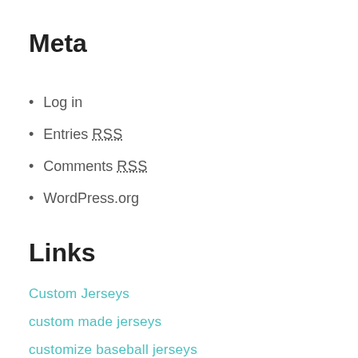Meta
Log in
Entries RSS
Comments RSS
WordPress.org
Links
Custom Jerseys
custom made jerseys
customize baseball jerseys